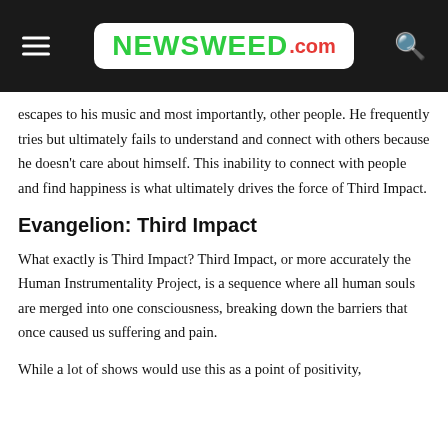NEWSWEED.COM
escapes to his music and most importantly, other people. He frequently tries but ultimately fails to understand and connect with others because he doesn't care about himself. This inability to connect with people and find happiness is what ultimately drives the force of Third Impact.
Evangelion: Third Impact
What exactly is Third Impact? Third Impact, or more accurately the Human Instrumentality Project, is a sequence where all human souls are merged into one consciousness, breaking down the barriers that once caused us suffering and pain.
While a lot of shows would use this as a point of positivity, Evangelion challenges that by pointing to the self...